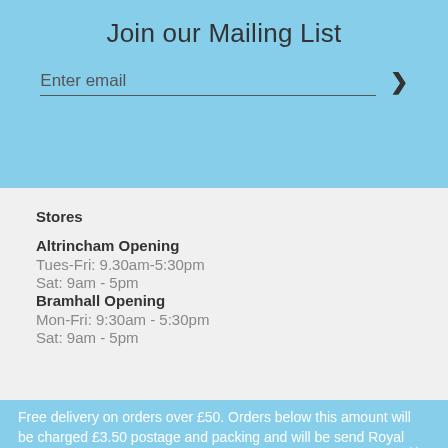Join our Mailing List
Enter email
Stores
Altrincham Opening
Tues-Fri: 9.30am-5:30pm
Sat: 9am - 5pm
Bramhall Opening
Mon-Fri: 9:30am - 5:30pm
Sat: 9am - 5pm
Free delivery on orders over £50. Orders below this amount will be charged £3.50 postage and packing and will be send Royal Mail 2nd Class